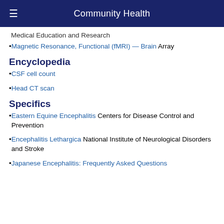Community Health
Medical Education and Research
Magnetic Resonance, Functional (fMRI) — Brain Array
Encyclopedia
CSF cell count
Head CT scan
Specifics
Eastern Equine Encephalitis Centers for Disease Control and Prevention
Encephalitis Lethargica National Institute of Neurological Disorders and Stroke
Japanese Encephalitis: Frequently Asked Questions